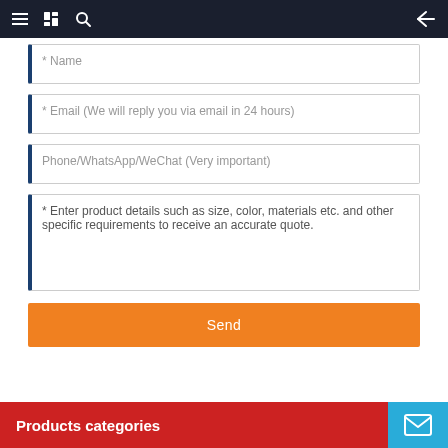Navigation bar with menu, bookmark, search icons and back arrow
* Name
* Email (We will reply you via email in 24 hours)
Phone/WhatsApp/WeChat (Very important)
* Enter product details such as size, color, materials etc. and other specific requirements to receive an accurate quote.
Send
Products categories